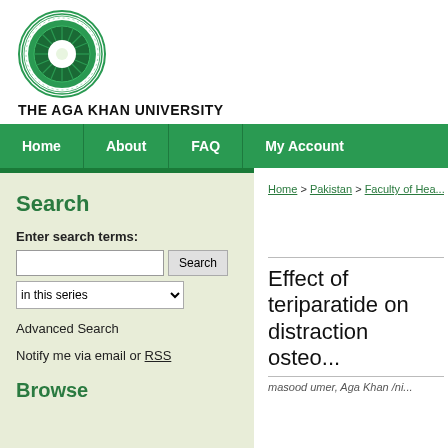[Figure (logo): Aga Khan University circular green logo with radiating sun design]
THE AGA KHAN UNIVERSITY
Home | About | FAQ | My Account
Search
Enter search terms:
in this series
Advanced Search
Notify me via email or RSS
Browse
Home > Pakistan > Faculty of Hea...
Effect of teriparatide on distraction osteo...
masood umer, Aga Khan /ni...